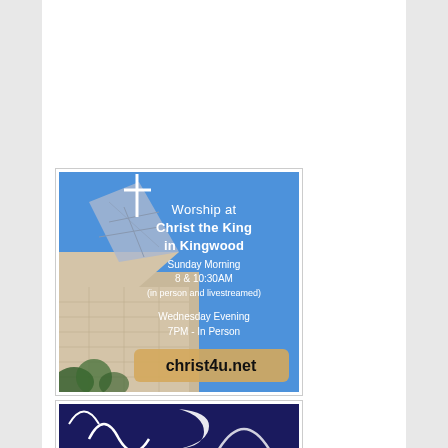[Figure (photo): Church advertisement card showing Christ the King church building with a cross against a blue sky. Text overlay reads: 'Worship at Christ the King in Kingwood, Sunday Morning 8 & 10:30AM (in person and livestreamed), Wednesday Evening 7PM - In Person, christ4u.net']
[Figure (photo): Partial view of another advertisement with dark blue background and white curved design elements, only top portion visible]